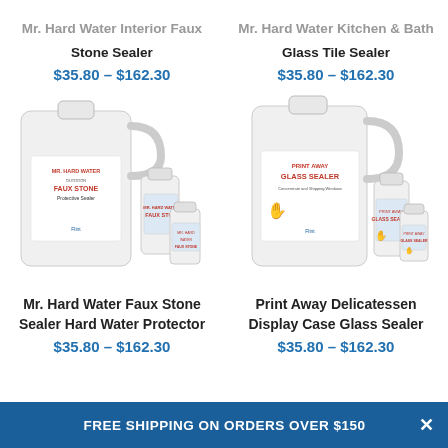Mr. Hard Water Interior Faux Stone Sealer
Mr. Hard Water Kitchen & Bath Glass Tile Sealer
$35.80 – $162.30
$35.80 – $162.30
[Figure (photo): Two white plastic jugs of Mr. Hard Water Faux Stone Protective Sealer product along with a smaller bottle]
[Figure (photo): Large white plastic jug of Print Away Glass Sealer along with two smaller bottles]
Mr. Hard Water Faux Stone Sealer Hard Water Protector
Print Away Delicatessen Display Case Glass Sealer
$35.80 – $162.30
$35.80 – $162.30
FREE SHIPPING ON ORDERS OVER $150